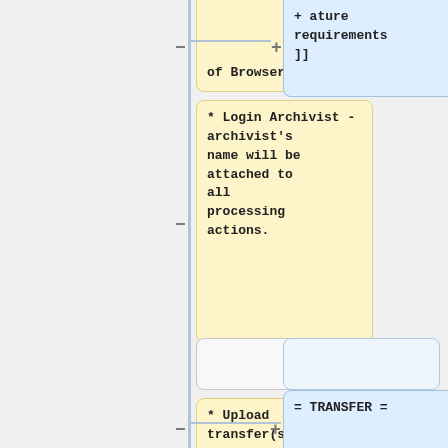[Figure (flowchart): Flowchart showing archival workflow steps with yellow and blue boxes connected by a vertical stem line with minus and plus connectors. Steps include: partial top box (of Browser =), blue box (feature requirements), Login Archivist yellow box, empty boxes, Upload transfer(s) yellow box, TRANSFER blue box, Login Archivist blue box (partial).]